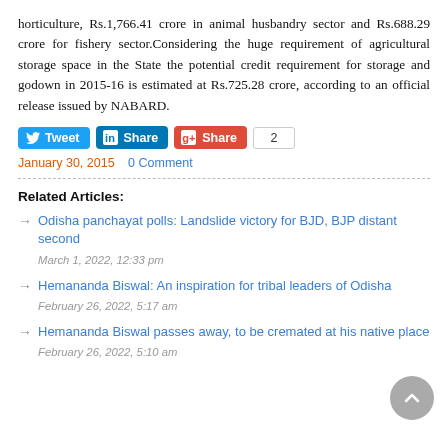horticulture, Rs.1,766.41 crore in animal husbandry sector and Rs.688.29 crore for fishery sector.Considering the huge requirement of agricultural storage space in the State the potential credit requirement for storage and godown in 2015-16 is estimated at Rs.725.28 crore, according to an official release issued by NABARD.
[Figure (infographic): Social sharing buttons: Tweet (Twitter), Share (LinkedIn), Share (Google+), and a count badge showing 2]
January 30, 2015   0 Comment
Related Articles:
Odisha panchayat polls: Landslide victory for BJD, BJP distant second — March 1, 2022, 12:33 pm
Hemananda Biswal: An inspiration for tribal leaders of Odisha — February 26, 2022, 5:17 am
Hemananda Biswal passes away, to be cremated at his native place — February 26, 2022, 5:10 am